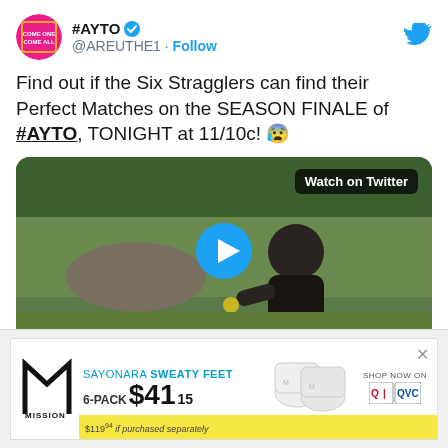[Figure (screenshot): Twitter/social media post screenshot showing @AREUTHE1 account with avatar, verified badge, follow button, tweet text about AYTO season finale, and embedded video thumbnail with play button and 'Watch on Twitter' label]
#AYTO @AREUTHE1 · Follow
Find out if the Six Stragglers can find their Perfect Matches on the SEASON FINALE of #AYTO, TONIGHT at 11/10c! 😰
[Figure (screenshot): Advertisement for Mission socks: SAYONARA SWEATY FEET, 6-PACK $41.15, $119.94 if purchased separately, Shop Now on QVC]
SAYONARA SWEATY FEET 6-PACK $41.15 $119.94 if purchased separately SHOP NOW ON QVC